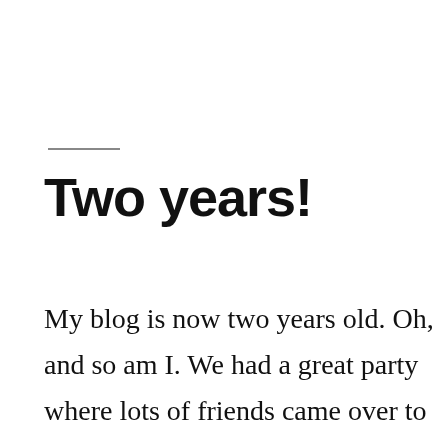Two years!
My blog is now two years old. Oh, and so am I. We had a great party where lots of friends came over to play and my grandparents all visited. I couldn’t contain my excitement when I started to receive gifts. Mommy made